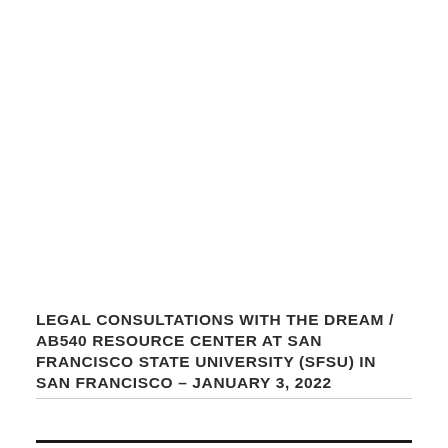LEGAL CONSULTATIONS WITH THE DREAM / AB540 RESOURCE CENTER AT SAN FRANCISCO STATE UNIVERSITY (SFSU) IN SAN FRANCISCO – JANUARY 3, 2022